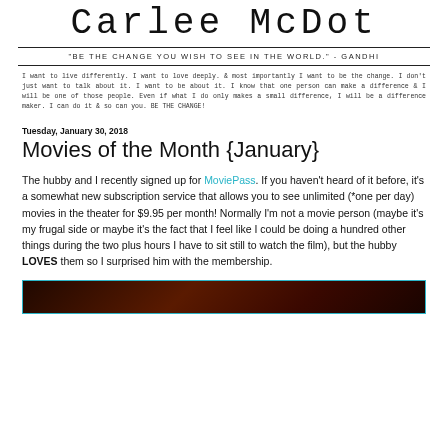Carlee McDot
"BE THE CHANGE YOU WISH TO SEE IN THE WORLD." - GANDHI
I want to live differently. I want to love deeply. & most importantly I want to be the change. I don't just want to talk about it. I want to be about it. I know that one person can make a difference & I will be one of those people. Even if what I do only makes a small difference, I will be a difference maker. I can do it & so can you. BE THE CHANGE!
Tuesday, January 30, 2018
Movies of the Month {January}
The hubby and I recently signed up for MoviePass. If you haven't heard of it before, it's a somewhat new subscription service that allows you to see unlimited (*one per day) movies in the theater for $9.95 per month! Normally I'm not a movie person (maybe it's my frugal side or maybe it's the fact that I feel like I could be doing a hundred other things during the two plus hours I have to sit still to watch the film), but the hubby LOVES them so I surprised him with the membership.
[Figure (photo): Dark reddish-brown image, appears to be a movie still or promotional image, partially visible at bottom of page]